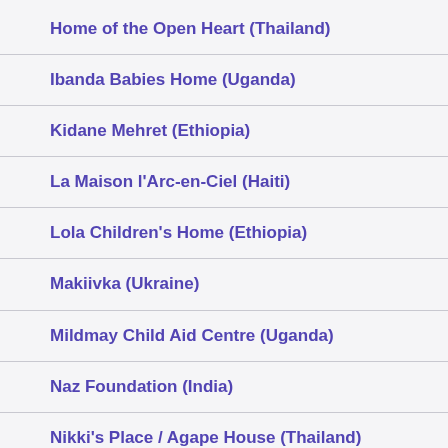Home of the Open Heart (Thailand)
Ibanda Babies Home (Uganda)
Kidane Mehret (Ethiopia)
La Maison l'Arc-en-Ciel (Haiti)
Lola Children's Home (Ethiopia)
Makiivka (Ukraine)
Mildmay Child Aid Centre (Uganda)
Naz Foundation (India)
Nikki's Place / Agape House (Thailand)